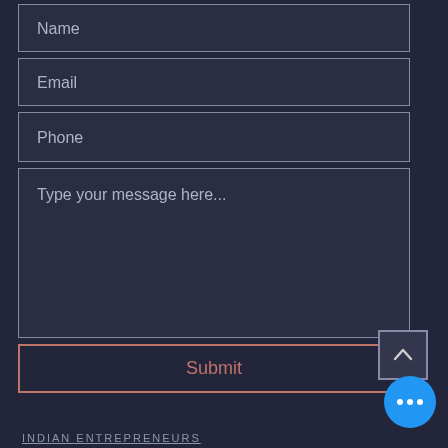[Figure (screenshot): Dark-themed contact form UI with fields for Name, Email, Phone, a message textarea, a Submit button, a scroll-to-top button, a blue chat button, and footer text reading INDIAN ENTREPRENEURS]
INDIAN ENTREPRENEURS